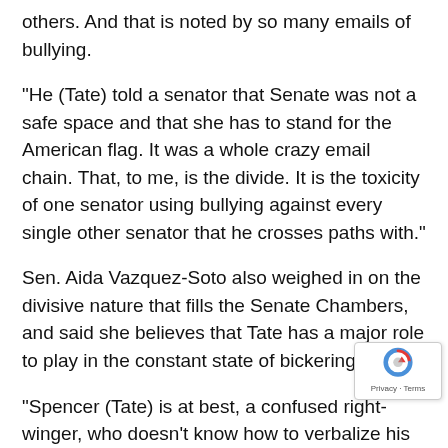others. And that is noted by so many emails of bullying.
“He (Tate) told a senator that Senate was not a safe space and that she has to stand for the American flag. It was a whole crazy email chain. That, to me, is the divide. It is the toxicity of one senator using bullying against every single other senator that he crosses paths with.”
Sen. Aida Vazquez-Soto also weighed in on the divisive nature that fills the Senate Chambers, and said she believes that Tate has a major role to play in the constant state of bickering.
“Spencer (Tate) is at best, a confused right-winger, who doesn’t know how to verbalize his thoughts without coming across as racist,” Vazquez-Soto